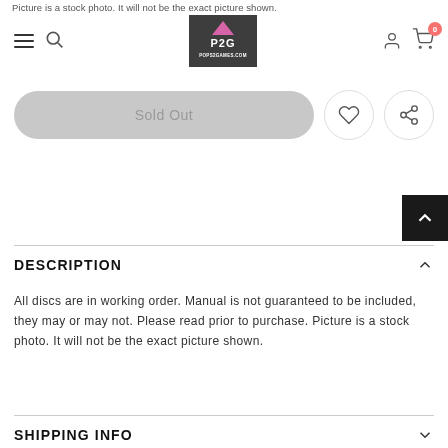Picture is a stock photo. It will not be the exact picture shown.
[Figure (logo): P2G Pops2Games.com logo on dark background with pink triangle accent]
Sold Out
DESCRIPTION
All discs are in working order. Manual is not guaranteed to be included, they may or may not. Please read prior to purchase. Picture is a stock photo. It will not be the exact picture shown.
SHIPPING INFO